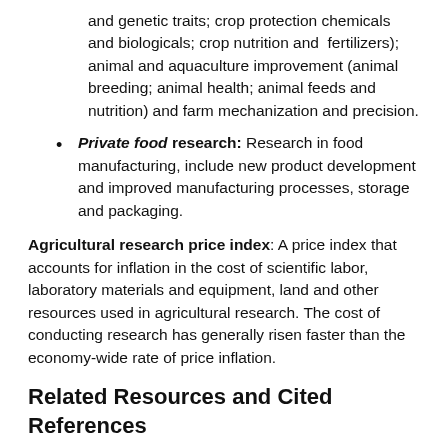and genetic traits; crop protection chemicals and biologicals; crop nutrition and fertilizers); animal and aquaculture improvement (animal breeding; animal health; animal feeds and nutrition) and farm mechanization and precision.
Private food research: Research in food manufacturing, include new product development and improved manufacturing processes, storage and packaging.
Agricultural research price index: A price index that accounts for inflation in the cost of scientific labor, laboratory materials and equipment, land and other resources used in agricultural research. The cost of conducting research has generally risen faster than the economy-wide rate of price inflation.
Related Resources and Cited References
Agricultural Research Investment and Policy